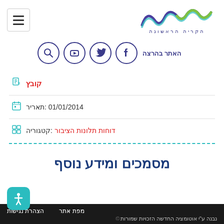[Figure (logo): Hakirya HaRishona logo with colorful wave design and Hebrew text הקריה הראשונה]
[Figure (infographic): Social media icons: search, YouTube, Twitter, Facebook with label האתר בהרצה]
קובץ
תאריר: 01/01/2014
קטגוריה: דוחות תלונות הציבור
מסמכים ומידע נוסף
מפת אתר   הצהרת נגישות
נבנה ע"י אוטומציה החדשה הזכויות שמורות